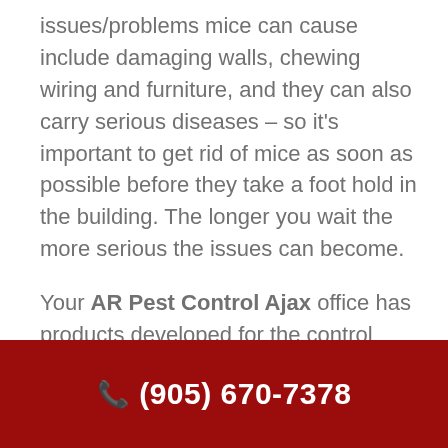issues/problems mice can cause include damaging walls, chewing wiring and furniture, and they can also carry serious diseases – so it's important to get rid of mice as soon as possible before they take a foot hold in the building. The longer you wait the more serious the issues can become.
Your AR Pest Control Ajax office has products developed for the control Mice. Due to the danger of property damage, health risks and risk of loss to businesses, contact us for a free no obligation quote at 1-855-670-7378 and we will be happy to
(905) 670-7378